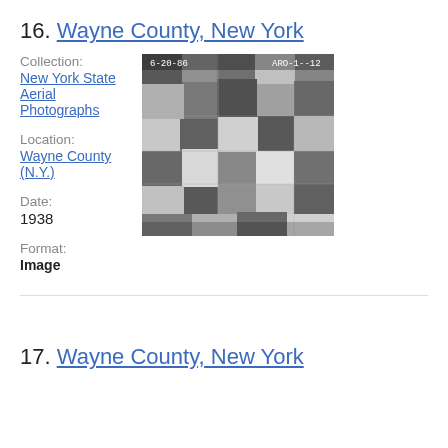16. Wayne County, New York
Collection:
New York State Aerial Photographs
Location:
Wayne County (N.Y.)
[Figure (photo): Black and white aerial photograph of Wayne County, New York, showing farmland and fields in a grid pattern, dated 6-20-86, labeled ARO-1--12]
Date:
1938
Format:
Image
17. Wayne County, New York